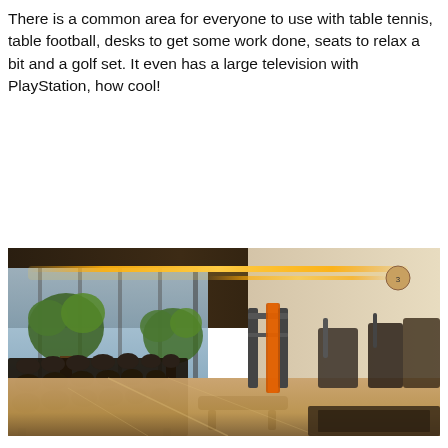There is a common area for everyone to use with table tennis, table football, desks to get some work done, seats to relax a bit and a golf set. It even has a large television with PlayStation, how cool!
[Figure (photo): Interior photo of a modern gym/common area with large floor-to-ceiling windows, rows of dumbbells on racks in the foreground, gym equipment in the background, tropical plants, warm LED strip lighting on the ceiling, and a polished wood floor.]